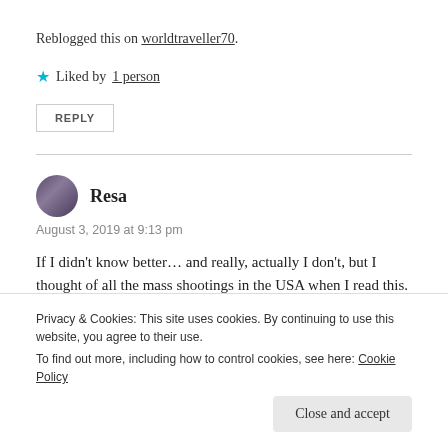Reblogged this on worldtraveller70.
★ Liked by 1 person
REPLY
Resa
August 3, 2019 at 9:13 pm
If I didn't know better… and really, actually I don't, but I thought of all the mass shootings in the USA when I read this.
Privacy & Cookies: This site uses cookies. By continuing to use this website, you agree to their use.
To find out more, including how to control cookies, see here: Cookie Policy
Close and accept